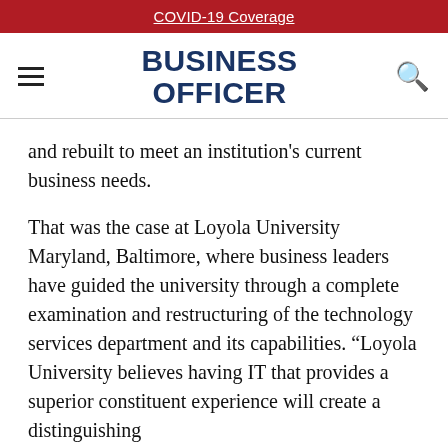COVID-19 Coverage
[Figure (logo): Business Officer magazine logo with hamburger menu icon on left and search icon on right]
and rebuilt to meet an institution's current business needs.
That was the case at Loyola University Maryland, Baltimore, where business leaders have guided the university through a complete examination and restructuring of the technology services department and its capabilities. “Loyola University believes having IT that provides a superior constituent experience will create a distinguishing